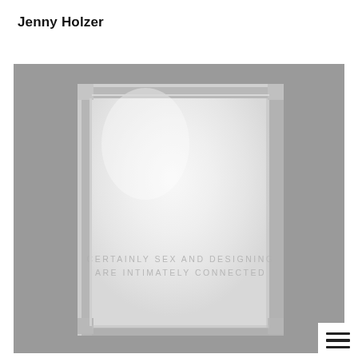Jenny Holzer
[Figure (photo): A photograph of a Jenny Holzer artwork: a large polished stainless steel or stone panel mounted within a gray brushed metal frame. The panel appears to be frosted glass or polished stone with engraved text reading 'CERTAINLY SEX AND DESIGNING ARE INTIMATELY CONNECTED' in light gray uppercase spaced letters in the lower-center portion of the panel. The overall palette is gray and silver.]
[Figure (other): Hamburger menu icon (three horizontal lines) in a white box at the bottom-right corner of the page.]